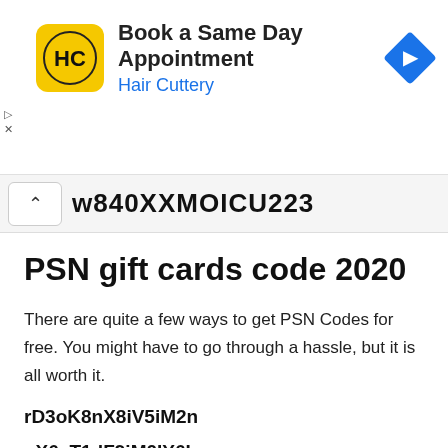[Figure (screenshot): Hair Cuttery advertisement banner: logo (HC in yellow square), 'Book a Same Day Appointment', 'Hair Cuttery' in blue, blue diamond navigation icon on right]
w840XXMOICU223
PSN gift cards code 2020
There are quite a few ways to get PSN Codes for free. You might have to go through a hassle, but it is all worth it.
rD3oK8nX8iV5iM2n
uX6vT1dF9iM0IY6I
bL9cX5sR4IV9cR7I